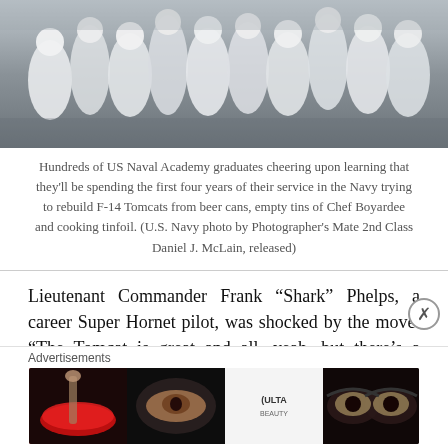[Figure (photo): Crowd of US Naval Academy graduates in white uniforms cheering]
Hundreds of US Naval Academy graduates cheering upon learning that they'll be spending the first four years of their service in the Navy trying to rebuild F-14 Tomcats from beer cans, empty tins of Chef Boyardee and cooking tinfoil. (U.S. Navy photo by Photographer's Mate 2nd Class Daniel J. McLain, released)
Lieutenant Commander Frank “Shark” Phelps, a career Super Hornet pilot, was shocked by the move. “The Tomcat is great and all, yeah, but there’s a reason we retired it to begin with.” The F-14 was originally removed from the fleet due to steadily decreasing readiness levels, high
Advertisements
[Figure (other): Ulta Beauty advertisement banner with makeup imagery and SHOP NOW call to action]